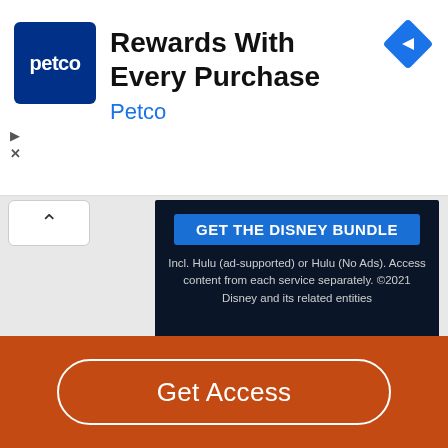[Figure (screenshot): Petco ad banner with blue logo box showing 'petco' text, headline 'Rewards With Every Purchase', subtext 'Petco', and a blue diamond navigation icon in the top right corner]
[Figure (screenshot): Disney Bundle advertisement on dark navy background with blue 'GET THE DISNEY BUNDLE' button and text 'Incl. Hulu (ad-supported) or Hulu (No Ads). Access content from each service separately. ©2021 Disney and its related entities', with colorful swoosh lines at bottom]
[Figure (screenshot): Orange footer bar with rounded white-bordered 'Get Access' button]